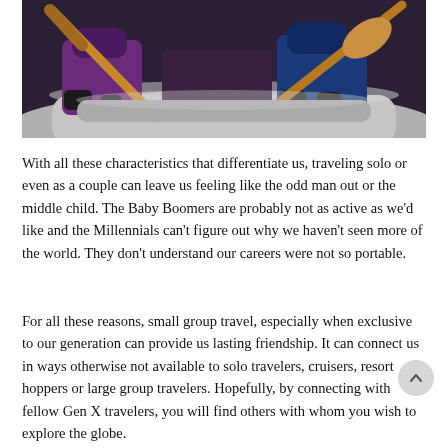[Figure (photo): Close-up photo of people in a raft holding wooden paddles, wearing colorful winter gear including purple and blue jackets and black gloves. The raft is gray/white and the paddles are wooden.]
With all these characteristics that differentiate us, traveling solo or even as a couple can leave us feeling like the odd man out or the middle child. The Baby Boomers are probably not as active as we'd like and the Millennials can't figure out why we haven't seen more of the world. They don't understand our careers were not so portable.
For all these reasons, small group travel, especially when exclusive to our generation can provide us lasting friendship. It can connect us in ways otherwise not available to solo travelers, cruisers, resort hoppers or large group travelers. Hopefully, by connecting with fellow Gen X travelers, you will find others with whom you wish to explore the globe.